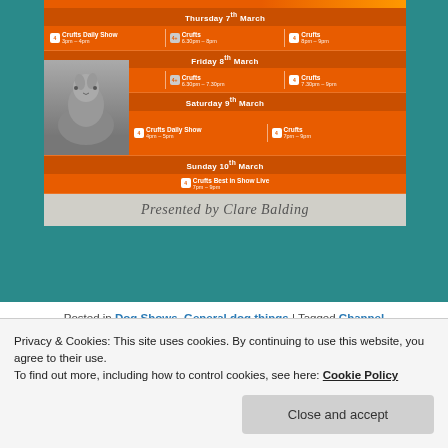[Figure (infographic): Crufts TV schedule infographic on Channel 4, showing show times for Thursday 7th March, Friday 8th March, Saturday 9th March, and Sunday 10th March, with a dog (Irish Wolfhound) image and text 'Presented by Clare Balding' at the bottom.]
Posted in Dog Shows, General dog things | Tagged Channel
Privacy & Cookies: This site uses cookies. By continuing to use this website, you agree to their use.
To find out more, including how to control cookies, see here: Cookie Policy
Close and accept